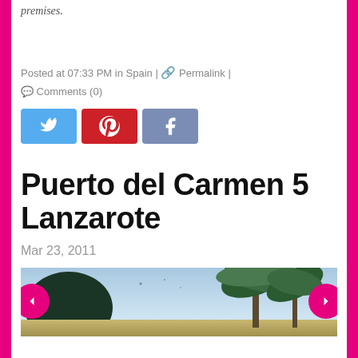premises.
Posted at 07:33 PM in Spain | 🔗 Permalink | 💬 Comments (0)
[Figure (other): Social share buttons: Twitter (blue), Pinterest (red), Facebook (muted blue)]
Puerto del Carmen 5 Lanzarote
Mar 23, 2011
[Figure (photo): Outdoor photo showing palm trees and a bright sky, taken in Puerto del Carmen, Lanzarote]